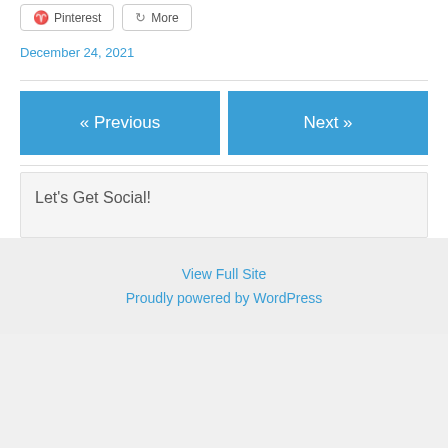Pinterest
More
December 24, 2021
[Figure (other): Previous / Next navigation buttons in blue]
Let's Get Social!
View Full Site
Proudly powered by WordPress